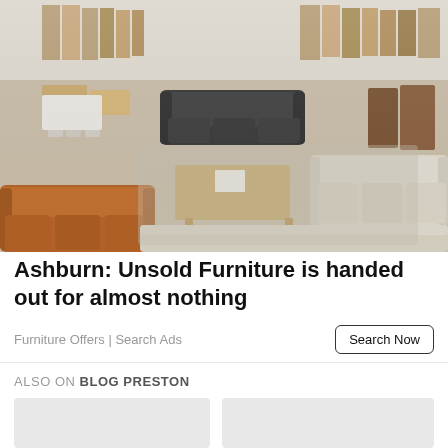[Figure (photo): Overhead-angle photo of a large furniture showroom with sofas (tan leather, beige sectional, dark leather recliner sofa), dining tables, chairs, cabinets, and various other wood furniture displayed on the showroom floor.]
Ashburn: Unsold Furniture is handed out for almost nothing
Furniture Offers | Search Ads
Search Now
ALSO ON BLOG PRESTON
[Figure (photo): Partially visible thumbnail image placeholder (light gray)]
[Figure (photo): Partially visible thumbnail image placeholder (light gray)]